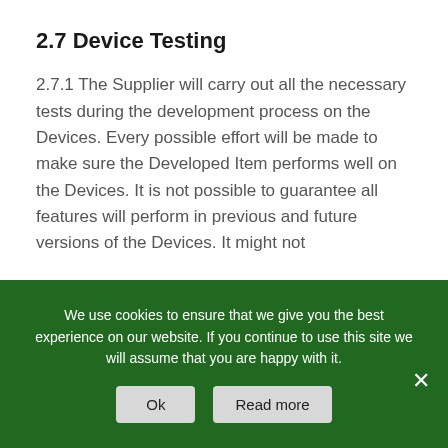2.7 Device Testing
2.7.1 The Supplier will carry out all the necessary tests during the development process on the Devices. Every possible effort will be made to make sure the Developed Item performs well on the Devices. It is not possible to guarantee all features will perform in previous and future versions of the Devices. It might not
We use cookies to ensure that we give you the best experience on our website. If you continue to use this site we will assume that you are happy with it.